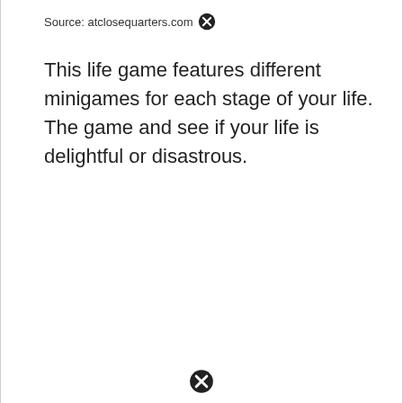Source: atclosequarters.com
This life game features different minigames for each stage of your life. The game and see if your life is delightful or disastrous.